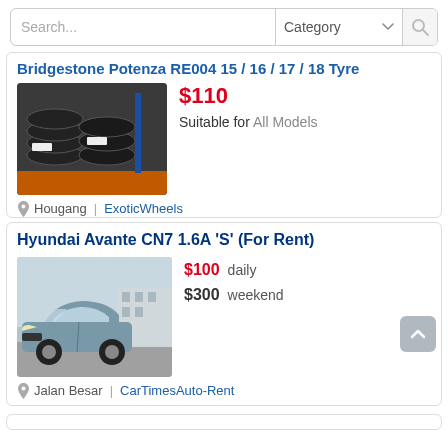Search... | Category
Bridgestone Potenza RE004 15"/16"/17"/18" Tyre
[Figure (photo): Stack of Bridgestone tyres on orange warehouse shelves]
$110
Suitable for All Models
Hougang | ExoticWheels
Hyundai Avante CN7 1.6A 'S' (For Rent)
[Figure (photo): Blue/grey Hyundai Avante CN7 sedan parked outside]
$100 daily
$300 weekend
Jalan Besar | CarTimesAuto-Rent